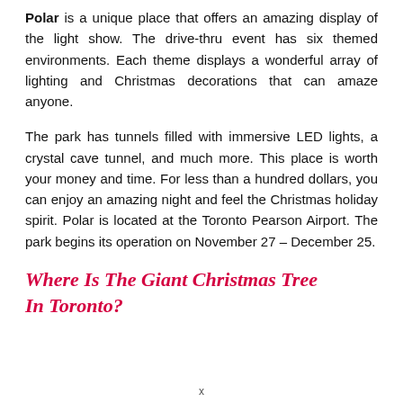Polar is a unique place that offers an amazing display of the light show. The drive-thru event has six themed environments. Each theme displays a wonderful array of lighting and Christmas decorations that can amaze anyone.
The park has tunnels filled with immersive LED lights, a crystal cave tunnel, and much more. This place is worth your money and time. For less than a hundred dollars, you can enjoy an amazing night and feel the Christmas holiday spirit. Polar is located at the Toronto Pearson Airport. The park begins its operation on November 27 – December 25.
Where Is The Giant Christmas Tree In Toronto?